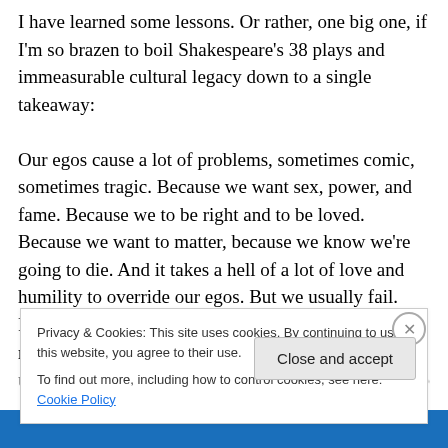I have learned some lessons. Or rather, one big one, if I'm so brazen to boil Shakespeare's 38 plays and immeasurable cultural legacy down to a single takeaway:

Our egos cause a lot of problems, sometimes comic, sometimes tragic. Because we want sex, power, and fame. Because we to be right and to be loved. Because we want to matter, because we know we're going to die. And it takes a hell of a lot of love and humility to override our egos. But we usually fail. People suffer and die, often ourselves. We repent. We reconcile. We go on, cleaning up our messes and telling stories and singing songs about
Privacy & Cookies: This site uses cookies. By continuing to use this website, you agree to their use.
To find out more, including how to control cookies, see here: Cookie Policy
Close and accept